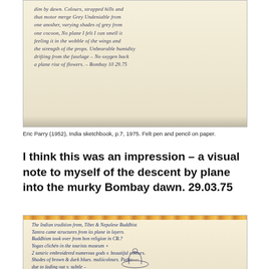[Figure (photo): Photograph of a handwritten sketchbook page (top). Aged cream/yellow paper with cursive handwriting in blue/grey ink. Text reads about dawn colours, motor noise, cocoon, feeling of wings and fuselage, Bombay dawn 29.03.75.]
Eric Parry (1952), India sketchbook, p.7, 1975. Felt pen and pencil on paper.
I think this was an impression – a visual note to myself of the descent by plane into the murky Bombay dawn. 29.03.75
[Figure (photo): Photograph of a second handwritten sketchbook page (bottom). Aged cream paper with blue ink cursive handwriting about Tibetan and Nepalese Buddhist traditions, embroidered items, shades of brown and dark blues, symmetrical circular repeating hands around Buddha. The page also shows a pencil sketch of a seated Buddha figure.]